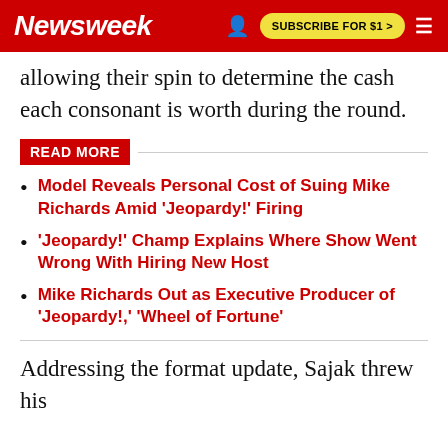Newsweek | SUBSCRIBE FOR $1 >
allowing their spin to determine the cash each consonant is worth during the round.
READ MORE
Model Reveals Personal Cost of Suing Mike Richards Amid 'Jeopardy!' Firing
'Jeopardy!' Champ Explains Where Show Went Wrong With Hiring New Host
Mike Richards Out as Executive Producer of 'Jeopardy!,' 'Wheel of Fortune'
Addressing the format update, Sajak threw his